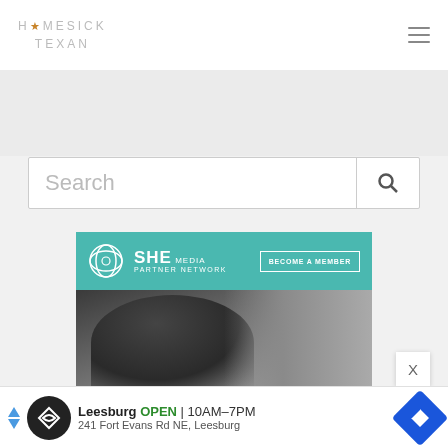HOMESICK TEXAN
[Figure (screenshot): SHE Media Partner Network advertisement banner with 'Become a Member' button and photo of smiling woman with glasses, text 'WE HELP CONTENT CREATORS GROW BUSINESSES THROUGH']
[Figure (infographic): Bottom banner ad: Leesburg OPEN 10AM-7PM, 241 Fort Evans Rd NE, Leesburg, with Google Maps style navigation icon]